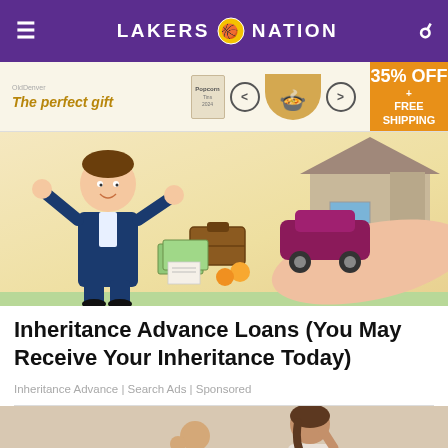LAKERS NATION
[Figure (illustration): Advertisement banner: 'The perfect gift' with food bowl image, navigation arrows, and 35% OFF + FREE SHIPPING offer]
[Figure (illustration): Cartoon illustration of a man in a suit with hands raised, a large hand holding a car, briefcase, money, documents and oranges, with a house in background]
Inheritance Advance Loans (You May Receive Your Inheritance Today)
Inheritance Advance | Search Ads | Sponsored
[Figure (photo): Photo of a woman holding her head in distress, man in background]